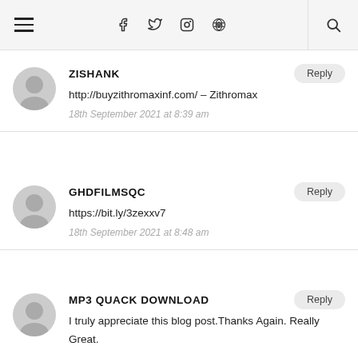Navigation bar with hamburger menu, social icons (f, twitter, instagram, pinterest), and search
ZISHANK
http://buyzithromaxinf.com/ – Zithromax
18th September 2021 at 8:39 am
GHDFILMSQC
https://bit.ly/3zexxv7
18th September 2021 at 8:48 am
MP3 QUACK DOWNLOAD
I truly appreciate this blog post.Thanks Again. Really Great.